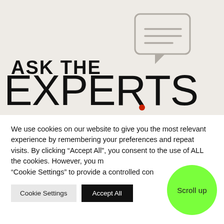[Figure (illustration): Banner with light beige background. Bold black text 'ASK THE' on the left and a grey speech bubble icon to the right. Below in very large thin letters: 'EXPERTS' with a small red dot accent on the letter P's baseline.]
We use cookies on our website to give you the most relevant experience by remembering your preferences and repeat visits. By clicking “Accept All”, you consent to the use of ALL the cookies. However, you m… “Cookie Settings” to provide a controlled con…
Cookie Settings
Accept All
Scroll up